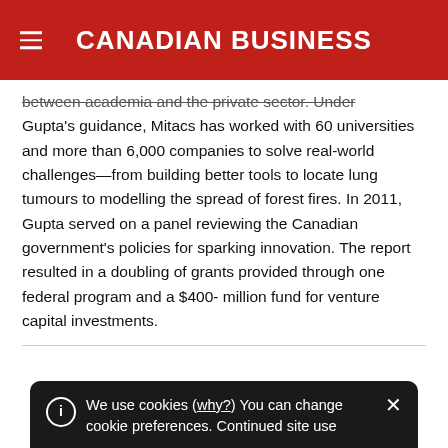CANADIAN BUSINESS
between academia and the private sector. Under Gupta's guidance, Mitacs has worked with 60 universities and more than 6,000 companies to solve real-world challenges—from building better tools to locate lung tumours to modelling the spread of forest fires. In 2011, Gupta served on a panel reviewing the Canadian government's policies for sparking innovation. The report resulted in a doubling of grants provided through one federal program and a $400-million fund for venture capital investments.
We use cookies (why?) You can change cookie preferences. Continued site use